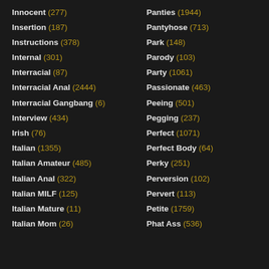Innocent (277)
Insertion (187)
Instructions (378)
Internal (301)
Interracial (87)
Interracial Anal (2444)
Interracial Gangbang (6)
Interview (434)
Irish (76)
Italian (1355)
Italian Amateur (485)
Italian Anal (322)
Italian MILF (125)
Italian Mature (11)
Italian Mom (26)
Panties (1944)
Pantyhose (713)
Park (148)
Parody (103)
Party (1061)
Passionate (463)
Peeing (501)
Pegging (237)
Perfect (1071)
Perfect Body (64)
Perky (251)
Perversion (102)
Pervert (113)
Petite (1759)
Phat Ass (536)